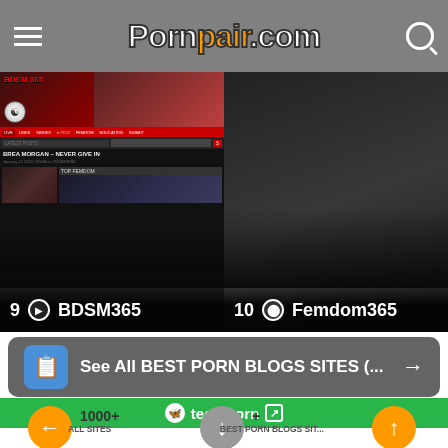Pornpair.com
[Figure (screenshot): BDSM365 website screenshot showing site header with red banner, BDSM365 logo, navigation bar, search bar, and post thumbnails. Card labeled '9 BDSM365' at bottom.]
[Figure (screenshot): Femdom365 website screenshot (dark background). Card labeled '10 Femdom365' at bottom.]
See All BEST PORN BLOGS SITES (...
teen porn
1000+
ALL SITES
+
BEST PORN BLOGS SIT...